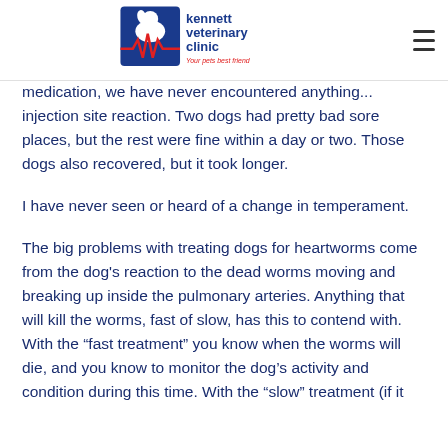Kennett Veterinary Clinic — Your pets best friend
medication, we have never encountered anything... injection site reaction. Two dogs had pretty bad sore places, but the rest were fine within a day or two. Those dogs also recovered, but it took longer.
I have never seen or heard of a change in temperament.
The big problems with treating dogs for heartworms come from the dog's reaction to the dead worms moving and breaking up inside the pulmonary arteries. Anything that will kill the worms, fast of slow, has this to contend with. With the “fast treatment” you know when the worms will die, and you know to monitor the dog’s activity and condition during this time. With the “slow” treatment (if it works at all) you’d have no idea when the...